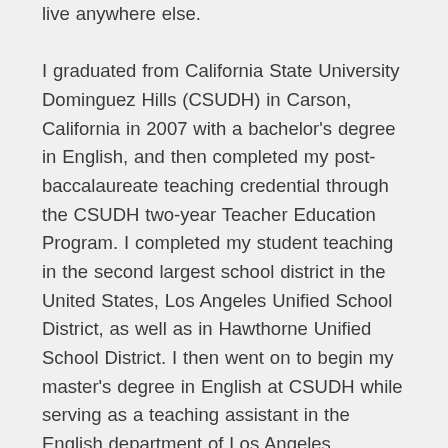live anywhere else. I graduated from California State University Dominguez Hills (CSUDH) in Carson, California in 2007 with a bachelor's degree in English, and then completed my post-baccalaureate teaching credential through the CSUDH two-year Teacher Education Program. I completed my student teaching in the second largest school district in the United States, Los Angeles Unified School District, as well as in Hawthorne Unified School District. I then went on to begin my master's degree in English at CSUDH while serving as a teaching assistant in the English department of Los Angeles Community College; I am currently completing my graduate degree at Northern Kentucky